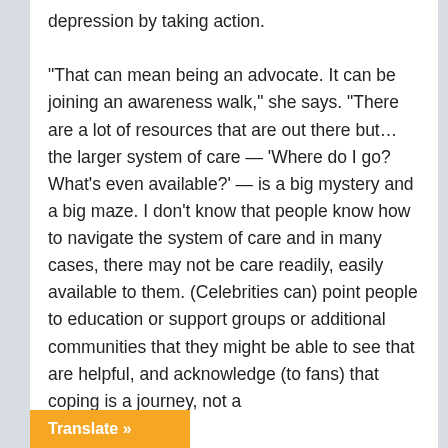depression by taking action.

“That can mean being an advocate. It can be joining an awareness walk,” she says. “There are a lot of resources that are out there but… the larger system of care — ‘Where do I go? What’s even available?’ — is a big mystery and a big maze. I don’t know that people know how to navigate the system of care and in many cases, there may not be care readily, easily available to them. (Celebrities can) point people to education or support groups or additional communities that they might be able to see that are helpful, and acknowledge (to fans) that coping is a journey, not a
Translate »